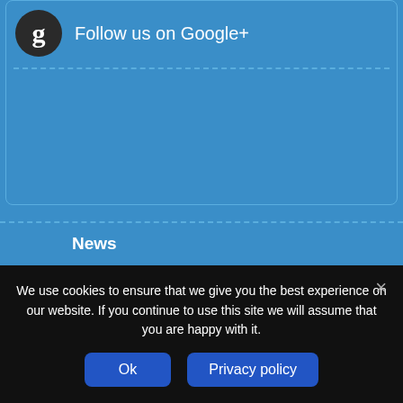Follow us on Google+
News
About
Support
Terms
We use cookies to ensure that we give you the best experience on our website. If you continue to use this site we will assume that you are happy with it.